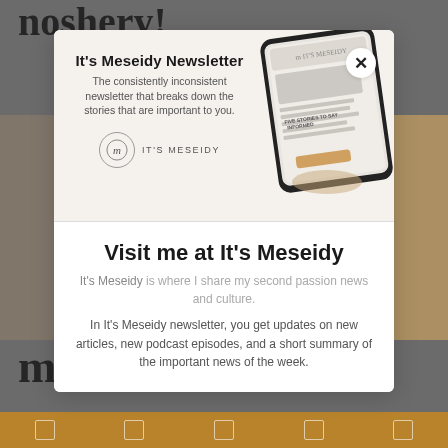[Figure (screenshot): Background website page partially visible, showing 'noshery!' text and food blog imagery with a golden-brown bar at the bottom]
[Figure (infographic): Modal popup with tablet device image showing It's Meseidy Newsletter promotional content]
It's Meseidy Newsletter
The consistently inconsistent newsletter that breaks down the stories that are important to you.
[Figure (logo): It's Meseidy logo with circular M monogram and text IT'S MESEIDY]
Visit me at It's Meseidy
It's Meseidy is where I share my second passion news and culture.
In It's Meseidy newsletter, you get updates on new articles, new podcast episodes, and a short summary of the important news of the week.